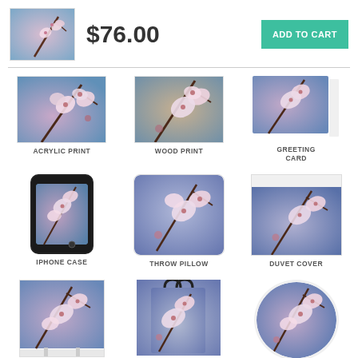[Figure (photo): Cherry blossom art product thumbnail in header]
$76.00
ADD TO CART
[Figure (photo): Acrylic print product with cherry blossom art]
ACRYLIC PRINT
[Figure (photo): Wood print product with cherry blossom art]
WOOD PRINT
[Figure (photo): Greeting card product with cherry blossom art]
GREETING CARD
[Figure (photo): iPhone case product with cherry blossom art]
IPHONE CASE
[Figure (photo): Throw pillow product with cherry blossom art]
THROW PILLOW
[Figure (photo): Duvet cover product with cherry blossom art]
DUVET COVER
[Figure (photo): Shower curtain product with cherry blossom art]
SHOWER
[Figure (photo): Tote bag product with cherry blossom art]
TOTE BAG
[Figure (photo): Round beach product with cherry blossom art]
ROUND BEACH